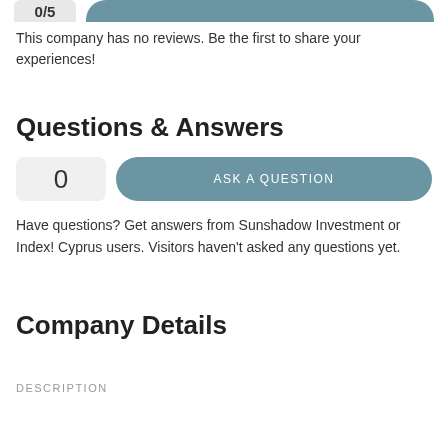This company has no reviews. Be the first to share your experiences!
Questions & Answers
0
ASK A QUESTION
Have questions? Get answers from Sunshadow Investment or Index! Cyprus users. Visitors haven't asked any questions yet.
Company Details
DESCRIPTION